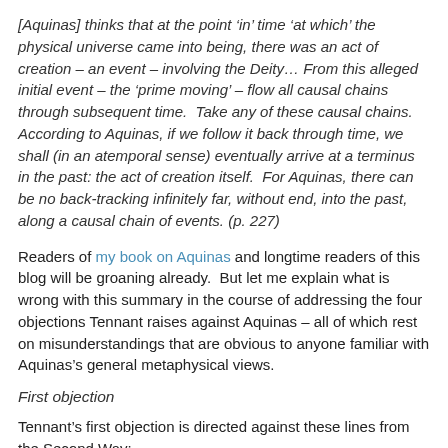[Aquinas] thinks that at the point 'in' time 'at which' the physical universe came into being, there was an act of creation – an event – involving the Deity… From this alleged initial event – the 'prime moving' – flow all causal chains through subsequent time.  Take any of these causal chains.  According to Aquinas, if we follow it back through time, we shall (in an atemporal sense) eventually arrive at a terminus in the past: the act of creation itself.  For Aquinas, there can be no back-tracking infinitely far, without end, into the past, along a causal chain of events. (p. 227)
Readers of my book on Aquinas and longtime readers of this blog will be groaning already.  But let me explain what is wrong with this summary in the course of addressing the four objections Tennant raises against Aquinas – all of which rest on misunderstandings that are obvious to anyone familiar with Aquinas's general metaphysical views.
First objection
Tennant's first objection is directed against these lines from the Second Way: